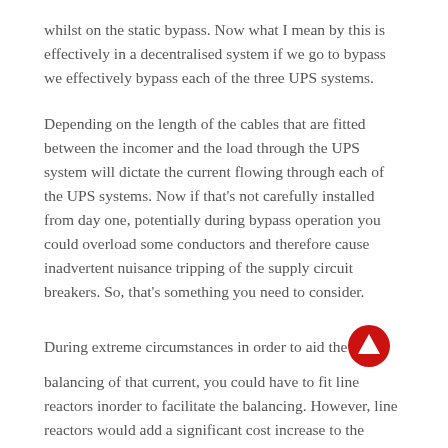whilst on the static bypass. Now what I mean by this is effectively in a decentralised system if we go to bypass we effectively bypass each of the three UPS systems.
Depending on the length of the cables that are fitted between the incomer and the load through the UPS system will dictate the current flowing through each of the UPS systems. Now if that's not carefully installed from day one, potentially during bypass operation you could overload some conductors and therefore cause inadvertent nuisance tripping of the supply circuit breakers. So, that's something you need to consider.
During extreme circumstances in order to aid the balancing of that current, you could have to fit line reactors in order to facilitate the balancing. However, line reactors would add a significant cost increase to the overall system.